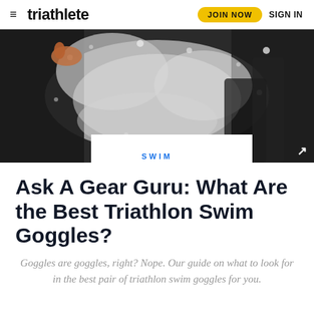triathlete — JOIN NOW  SIGN IN
[Figure (photo): Athletes running through water splash during a triathlon swim start, wearing wetsuits, water spraying dramatically around them.]
SWIM
Ask A Gear Guru: What Are the Best Triathlon Swim Goggles?
Goggles are goggles, right? Nope. Our guide on what to look for in the best pair of triathlon swim goggles for you.